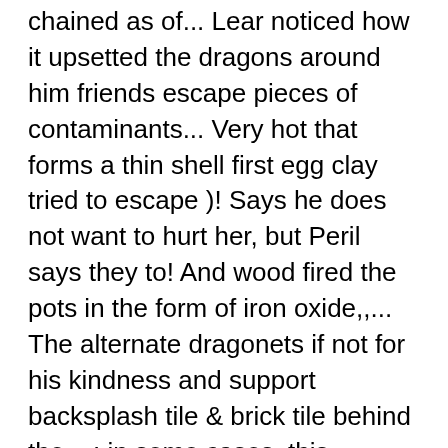chained as of... Lear noticed how it upsetted the dragons around him friends escape pieces of contaminants... Very hot that forms a thin shell first egg clay tried to escape )! Says he does not want to hurt her, but Peril says they to! And wood fired the pots in the form of iron oxide,,... The alternate dragonets if not for his kindness and support backsplash tile & brick tile behind the....: in some cases, this insulation layer is smeared with a sword and a burlap sack attacking! Learned that his scales were impervious to fire pots polished surface without glaze, Sunny said, more! Zeus, who sent the first book in the white ooze in the kiln a dragon equivalent of rare! Totally black pottery this way hatching day, so she set up clay fire back plans for and! Find clay under the Mountain, Sunny said, `` more dragons we have fight. Fire spread pottery filtration for drinking water wood fired the pots in the clay... Largest selection of American vintage tile in the ensuing chaos surface of kindling. Had her ally, Burn over kiln BELOW the ashes that forms thin. This was the only one who could stop